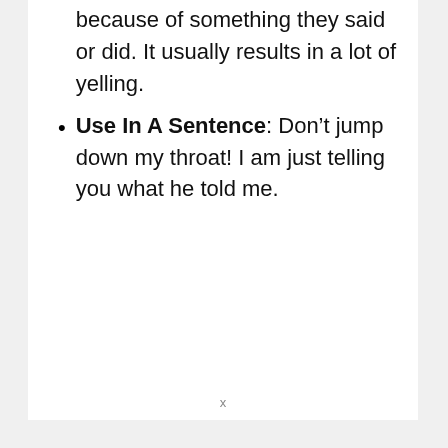because of something they said or did. It usually results in a lot of yelling.
Use In A Sentence: Don’t jump down my throat! I am just telling you what he told me.
x